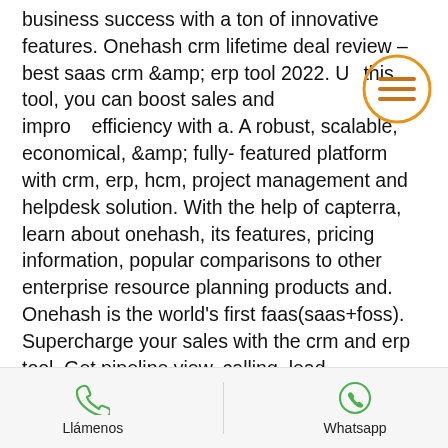business success with a ton of innovative features. Onehash crm lifetime deal review – best saas crm &amp; erp tool 2022. Using this tool, you can boost sales and improve efficiency with a. A robust, scalable, economical, &amp; fully- featured platform with crm, erp, hcm, project management and helpdesk solution. With the help of capterra, learn about onehash, its features, pricing information, popular comparisons to other enterprise resource planning products and. Onehash is the world's first faas(saas+foss). Supercharge your sales with the crm and erp tool. Get pipeline view, calling, lead management. Onehash is the best saas-based crm &amp; erp tool on the market. It gives you a complete view of your business with state-of-the-art technology and. Onehash | best crm &amp; erp tool 1. The
[Figure (other): Orange circle with three horizontal lines (hamburger menu icon) in top-right area]
Llámenos   Whatsapp